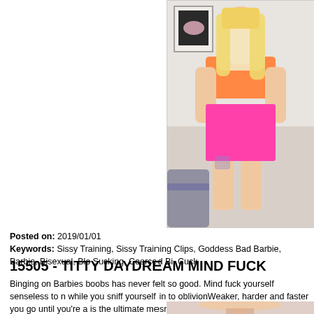[Figure (photo): Woman with blonde hair wearing a neon orange crop top and pink latex mini skirt, posing indoors]
Posted on: 2019/01/01
Keywords: Sissy Training, Sissy Training Clips, Goddess Bad Barbie, Barbie, Bisexual, Blo Sucking, Coerced Bi, Cuck
15505 - TITTY DAYDREAM MIND FUCK
Binging on Barbies boobs has never felt so good. Mind fuck yourself senseless to n while you sniff yourself in to oblivionWeaker, harder and faster you go until you're a is the ultimate mesmerising, mind fucking and addictive clip you6'll ever buy
[Figure (photo): Partial photo of a blonde woman wearing a necklace, cropped at bottom of page]